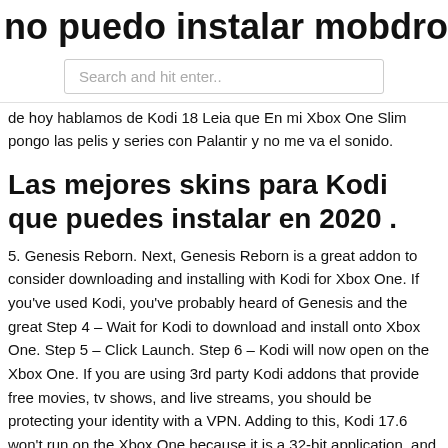no puedo instalar mobdro en android
[Figure (screenshot): Search bar with placeholder text 'Search and hit enter..']
de hoy hablamos de Kodi 18 Leia que En mi Xbox One Slim pongo las pelis y series con Palantir y no me va el sonido.
Las mejores skins para Kodi que puedes instalar en 2020 .
5. Genesis Reborn. Next, Genesis Reborn is a great addon to consider downloading and installing with Kodi for Xbox One. If you've used Kodi, you've probably heard of Genesis and the great Step 4 – Wait for Kodi to download and install onto Xbox One. Step 5 – Click Launch. Step 6 – Kodi will now open on the Xbox One. If you are using 3rd party Kodi addons that provide free movies, tv shows, and live streams, you should be protecting your identity with a VPN. Adding to this, Kodi 17.6 won't run on the Xbox One because it is a 32-bit application, and Leia 18 is a 64-bit. Installing Kodi on Xbox One There are two ways to make Kodi downloads on the Xbox One. Here is the first method using the Xbox app store. Kodi